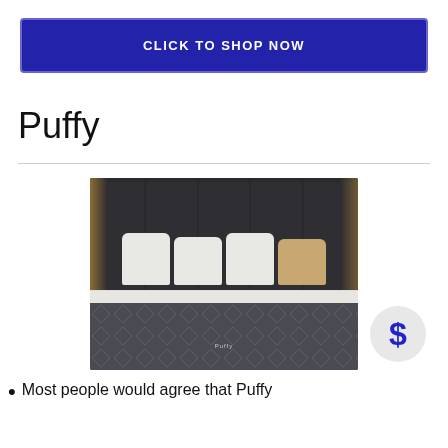CLICK TO SHOP NOW
Puffy
[Figure (photo): Puffy mattress on a bed frame with white pillows against a dark paneled headboard. A dollar sign badge is overlaid in the bottom right corner.]
Most people would agree that Puffy